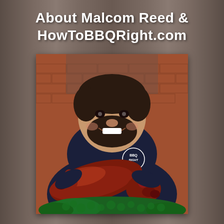About Malcom Reed & HowToBBQRight.com
[Figure (photo): Malcom Reed smiling and holding a whole roasted suckling pig, wearing a black BBQ RIGHT hoodie sweatshirt, standing in front of a brick wall background. The pig is a deep mahogany/reddish-brown color, glazed and cooked. Green leafy garnish is visible at the bottom.]